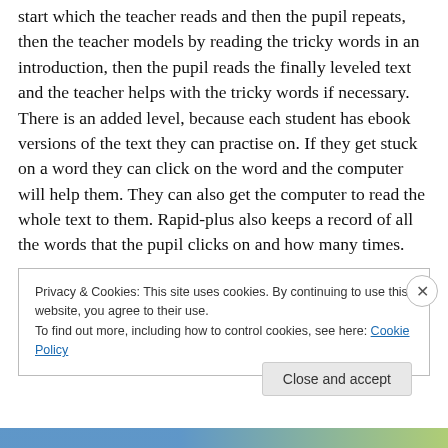start which the teacher reads and then the pupil repeats, then the teacher models by reading the tricky words in an introduction, then the pupil reads the finally leveled text and the teacher helps with the tricky words if necessary. There is an added level, because each student has ebook versions of the text they can practise on. If they get stuck on a word they can click on the word and the computer will help them. They can also get the computer to read the whole text to them. Rapid-plus also keeps a record of all the words that the pupil clicks on and how many times.
Privacy & Cookies: This site uses cookies. By continuing to use this website, you agree to their use.
To find out more, including how to control cookies, see here: Cookie Policy
Close and accept